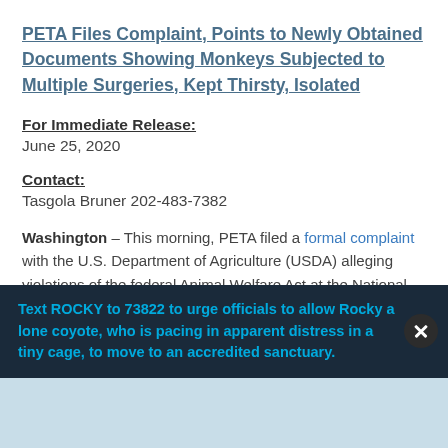PETA Files Complaint, Points to Newly Obtained Documents Showing Monkeys Subjected to Multiple Surgeries, Kept Thirsty, Isolated
For Immediate Release:
June 25, 2020
Contact:
Tasgola Bruner 202-483-7382
Washington – This morning, PETA filed a formal complaint with the U.S. Department of Agriculture (USDA) alleging violations of the federal Animal Welfare Act at the National Institutes of Health (NIH) laboratory where Elisabeth M...
[Figure (other): Popup banner overlay with dark background. Text in blue: 'Text ROCKY to 73822 to urge officials to allow Rocky a lone coyote, who is pacing in apparent distress in a tiny cage, to move to an accredited sanctuary.' Close button (X) in dark circle on right side.]